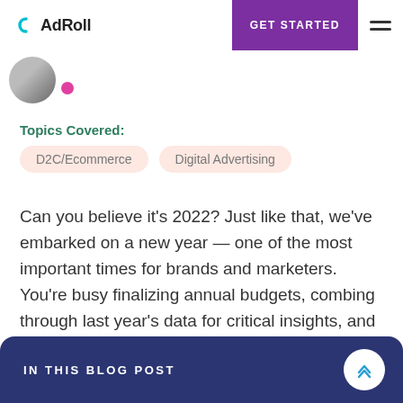AdRoll — GET STARTED
[Figure (illustration): Partial avatar/profile image with a pink dot]
Topics Covered:
D2C/Ecommerce
Digital Advertising
Can you believe it’s 2022? Just like that, we’ve embarked on a new year — one of the most important times for brands and marketers. You’re busy finalizing annual budgets, combing through last year’s data for critical insights, and mapping out creative campaigns.
IN THIS BLOG POST